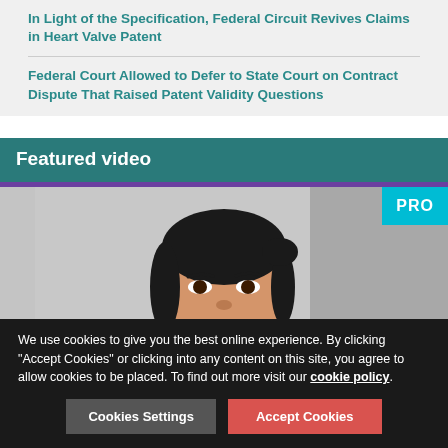In Light of the Specification, Federal Circuit Revives Claims in Heart Valve Patent
Federal Court Allowed to Defer to State Court on Contract Dispute That Raised Patent Validity Questions
Featured video
[Figure (photo): Woman smiling at camera, headshot photo used as video thumbnail with PRO badge overlay]
In-house counsel: Top tips for starting at a new company
We use cookies to give you the best online experience. By clicking "Accept Cookies" or clicking into any content on this site, you agree to allow cookies to be placed. To find out more visit our cookie policy